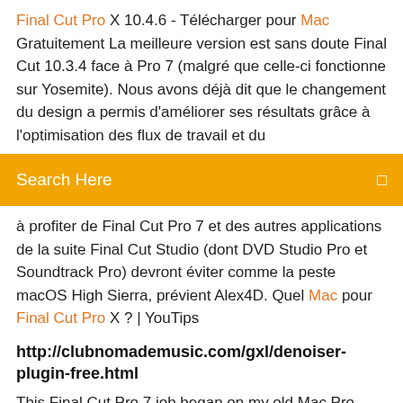Final Cut Pro X 10.4.6 - Télécharger pour Mac Gratuitement La meilleure version est sans doute Final Cut 10.3.4 face à Pro 7 (malgré que celle-ci fonctionne sur Yosemite). Nous avons déjà dit que le changement du design a permis d'améliorer ses résultats grâce à l'optimisation des flux de travail et du
Search Here
à profiter de Final Cut Pro 7 et des autres applications de la suite Final Cut Studio (dont DVD Studio Pro et Soundtrack Pro) devront éviter comme la peste macOS High Sierra, prévient Alex4D. Quel Mac pour Final Cut Pro X ? | YouTips
http://clubnomademusic.com/gxl/denoiser-plugin-free.html
This Final Cut Pro 7 job began on my old Mac Pro tower (seen in the image above) which is still running OS 10.9. I already had FCP7 installed on that machine but hadPlus I wanted a backup